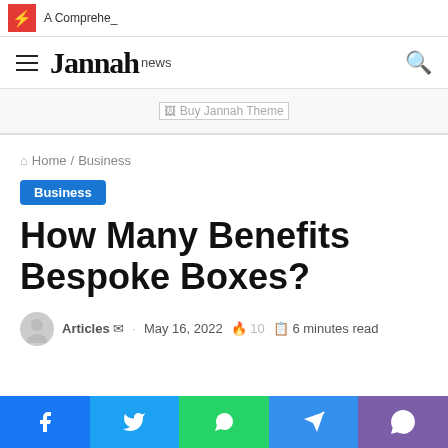A Comprehe_
[Figure (logo): Jannah news logo with hamburger menu and search icon]
[Figure (other): Buy Jannah Theme advertisement banner with broken image icon]
Home / Business
Business
How Many Benefits Bespoke Boxes?
Articles · May 16, 2022 · 10 · 6 minutes read
[Figure (other): Social share bar: Facebook, Twitter, WhatsApp, Telegram, Viber]